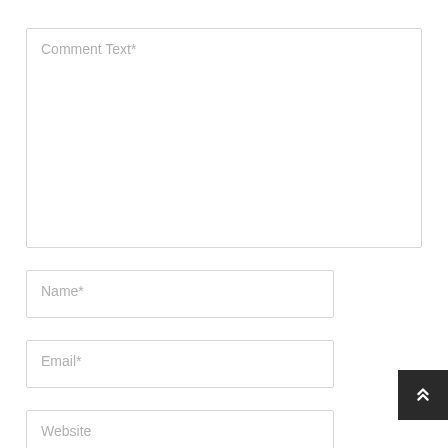Comment Text*
Name*
Email*
Website
Save my name, email, and website in this